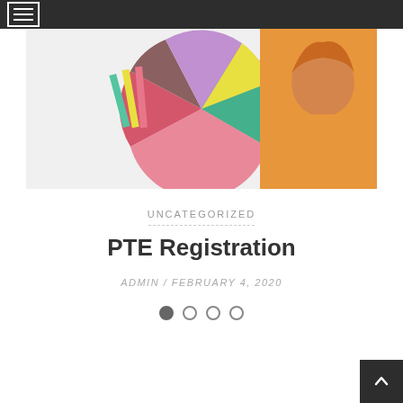Navigation menu bar with hamburger icon
[Figure (photo): Colorful image with a pie chart made of colored paper pieces alongside a student holding books, with a girl with orange clothing visible on the right side]
UNCATEGORIZED
PTE Registration
ADMIN / FEBRUARY 4, 2020